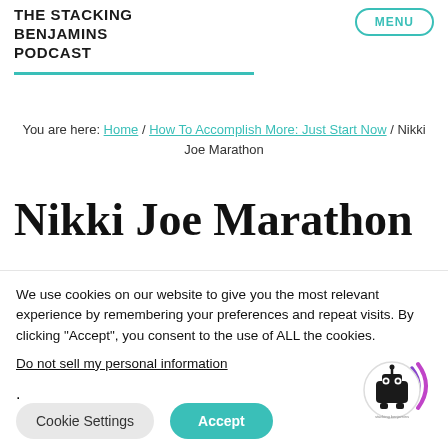THE STACKING BENJAMINS PODCAST
You are here: Home / How To Accomplish More: Just Start Now / Nikki Joe Marathon
Nikki Joe Marathon
We use cookies on our website to give you the most relevant experience by remembering your preferences and repeat visits. By clicking “Accept”, you consent to the use of ALL the cookies.
Do not sell my personal information.
Cookie Settings  Accept